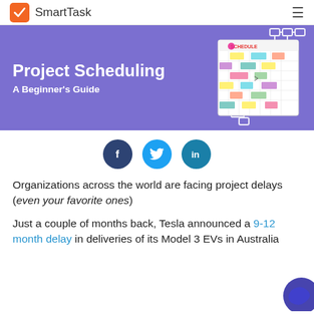SmartTask
[Figure (illustration): Purple banner hero image for 'Project Scheduling: A Beginner's Guide' with a schedule board illustration on the right and decorative connector icons]
[Figure (infographic): Social sharing buttons: Facebook (dark blue circle with f), Twitter (cyan circle with bird icon), LinkedIn (teal circle with 'in')]
Organizations across the world are facing project delays (even your favorite ones)
Just a couple of months back, Tesla announced a 9-12 month delay in deliveries of its Model 3 EVs in Australia